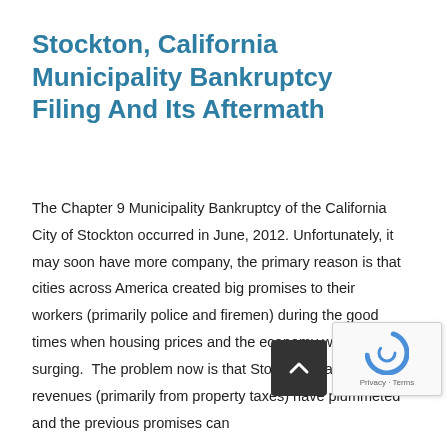Stockton, California Municipality Bankruptcy Filing And Its Aftermath
The Chapter 9 Municipality Bankruptcy of the California City of Stockton occurred in June, 2012. Unfortunately, it may soon have more company, the primary reason is that cities across America created big promises to their workers (primarily police and firemen) during the good times when housing prices and the economy were surging.  The problem now is that Stockton's tax revenues (primarily from property taxes) have plummeted and the previous promises can't be kept